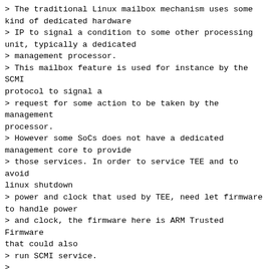> The traditional Linux mailbox mechanism uses some kind of dedicated hardware
> IP to signal a condition to some other processing unit, typically a dedicated
> management processor.
> This mailbox feature is used for instance by the SCMI protocol to signal a
> request for some action to be taken by the management processor.
> However some SoCs does not have a dedicated management core to provide
> those services. In order to service TEE and to avoid linux shutdown
> power and clock that used by TEE, need let firmware to handle power
> and clock, the firmware here is ARM Trusted Firmware that could also
> run SCMI service.
>
> The existing SCMI implementation uses a rather flexible shared memory
> region to communicate commands and their parameters, it still requires a
> mailbox to actually trigger the action.
We have had something similar done internally with a couple of minor
differences:
- a SGI is used to send SCMI notifications/delayed